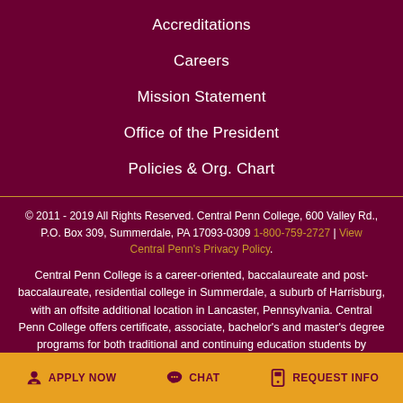Accreditations
Careers
Mission Statement
Office of the President
Policies & Org. Chart
© 2011 - 2019 All Rights Reserved. Central Penn College, 600 Valley Rd., P.O. Box 309, Summerdale, PA 17093-0309 1-800-759-2727 | View Central Penn's Privacy Policy.
Central Penn College is a career-oriented, baccalaureate and post-baccalaureate, residential college in Summerdale, a suburb of Harrisburg, with an offsite additional location in Lancaster, Pennsylvania. Central Penn College offers certificate, associate, bachelor's and master's degree programs for both traditional and continuing education students by providing hands-on and online distance education taught by experienced, caring faculty
APPLY NOW  CHAT  REQUEST INFO